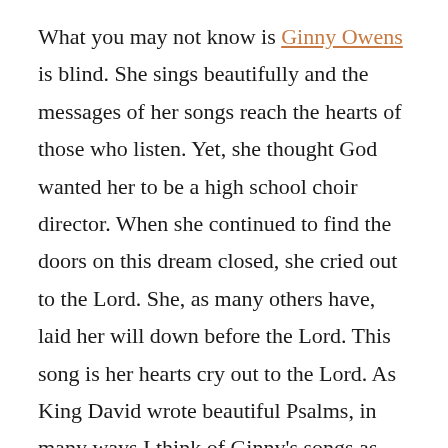What you may not know is Ginny Owens is blind. She sings beautifully and the messages of her songs reach the hearts of those who listen. Yet, she thought God wanted her to be a high school choir director. When she continued to find the doors on this dream closed, she cried out to the Lord. She, as many others have, laid her will down before the Lord. This song is her hearts cry out to the Lord. As King David wrote beautiful Psalms, in many ways I think of Ginny's songs as Psalms as well.
If you are struggling, wondering if you can hang on, confused because you thought you heard God